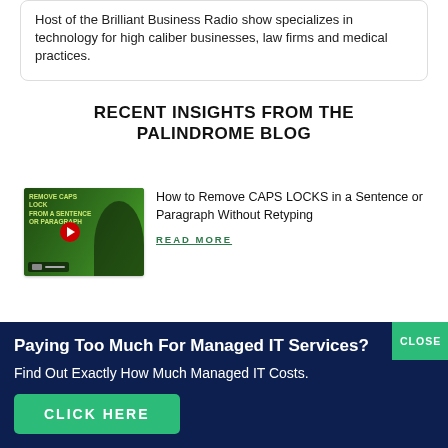Host of the Brilliant Business Radio show specializes in technology for high caliber businesses, law firms and medical practices.
RECENT INSIGHTS FROM THE PALINDROME BLOG
[Figure (screenshot): Thumbnail image showing a man in a suit with green background and text 'REMOVE CAPS LOCK FROM A SENTENCE OR PARAGRAPH' with a red play button]
How to Remove CAPS LOCKS in a Sentence or Paragraph Without Retyping
READ MORE
Paying Too Much For Managed IT Services?
Find Out Exactly How Much Managed IT Costs.
CLICK HERE